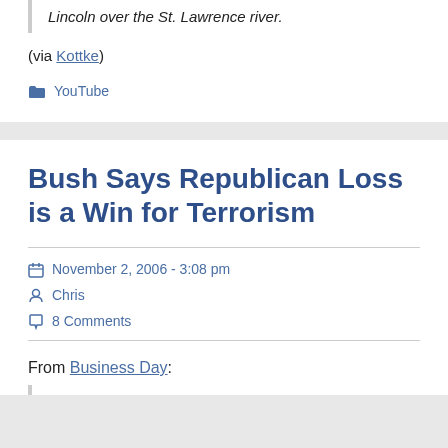Lincoln over the St. Lawrence river.
(via Kottke)
YouTube
Bush Says Republican Loss is a Win for Terrorism
November 2, 2006 - 3:08 pm
Chris
8 Comments
From Business Day: